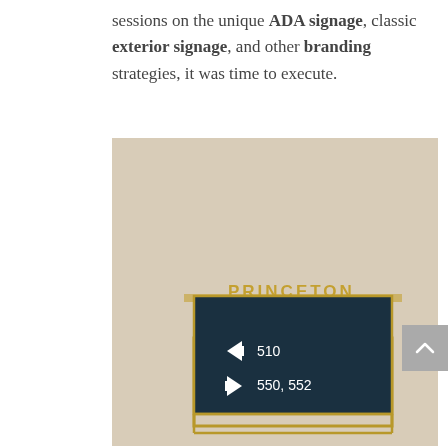sessions on the unique ADA signage, classic exterior signage, and other branding strategies, it was time to execute.
[Figure (photo): Photo of a Princeton-branded ADA directional sign mounted on a beige textured wall. The sign has a dark teal/navy panel with a gold frame and gold lettered 'PRINCETON' text along the top edge. White arrows and text on the panel read: left arrow pointing left with '510', and right arrow pointing right with '550, 552'.]